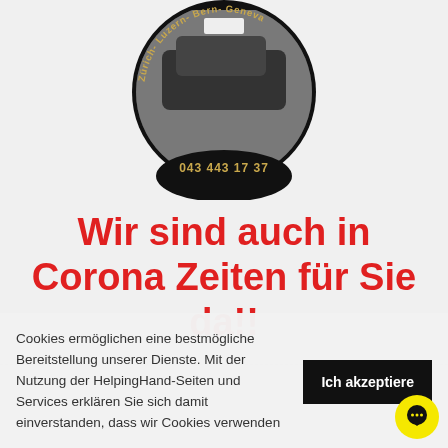[Figure (logo): Circular black logo with a car photo in the center and curved gold text reading 'Zürich- Luzern- Bern- Geneva' around the top. Below the circle is a black oval shape with gold text '043 443 17 37'.]
Wir sind auch in Corona Zeiten für Sie da!!
Cookies ermöglichen eine bestmögliche Bereitstellung unserer Dienste. Mit der Nutzung der HelpingHand-Seiten und Services erklären Sie sich damit einverstanden, dass wir Cookies verwenden
Ich akzeptiere